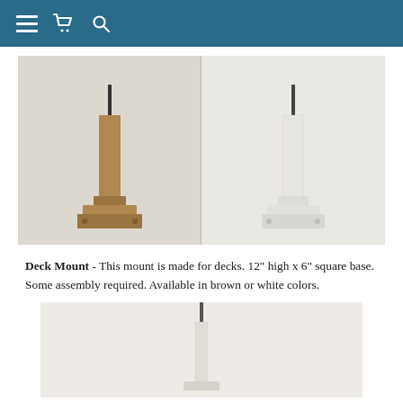Navigation header with hamburger menu, cart, and search icons
[Figure (photo): Two deck mount posts side by side: left one is brown/tan colored with a square base and vertical post with a thin rod at top; right one is white colored with the same design. Both shown against a light beige background.]
Deck Mount - This mount is made for decks. 12" high x 6" square base. Some assembly required. Available in brown or white colors.
[Figure (photo): A white deck mount post shown from a distance against a light background, showing the full height of the post.]